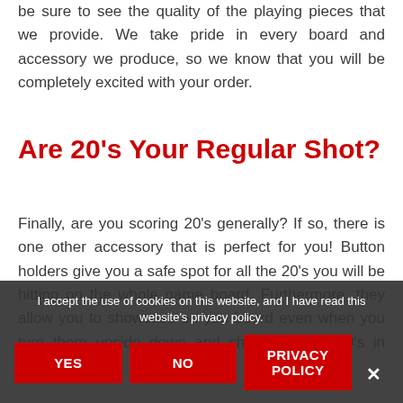be sure to see the quality of the playing pieces that we provide. We take pride in every board and accessory we produce, so we know that you will be completely excited with your order.
Are 20's Your Regular Shot?
Finally, are you scoring 20's generally? If so, there is one other accessory that is perfect for you! Button holders give you a safe spot for all the 20's you will be hitting on the whole game board. Furthermore, they allow you to showcase on you board even when you turn them upside down and show off your 20's in style. Each
I accept the use of cookies on this website, and I have read this website's privacy policy.
YES
NO
PRIVACY POLICY